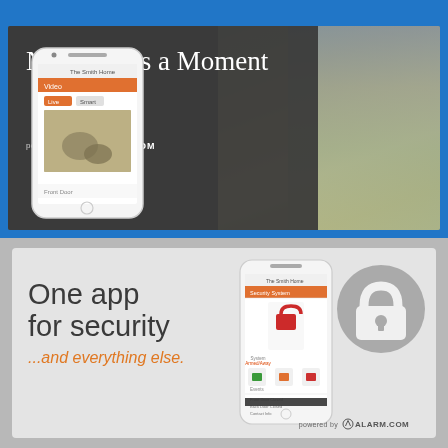[Figure (infographic): Top banner: Dark grey background with text 'Never Miss a Moment' powered by Alarm.com logo, overlaid on a photo of a woman in a grocery store looking at her phone, with a smartphone mockup showing the Alarm.com video monitoring app interface on the left.]
[Figure (infographic): Bottom banner: Light grey background with text 'One app for security ...and everything else.' on the left, a smartphone mockup showing Alarm.com security system app in the center, and a large padlock icon on the right. Powered by Alarm.com logo in bottom-right corner.]